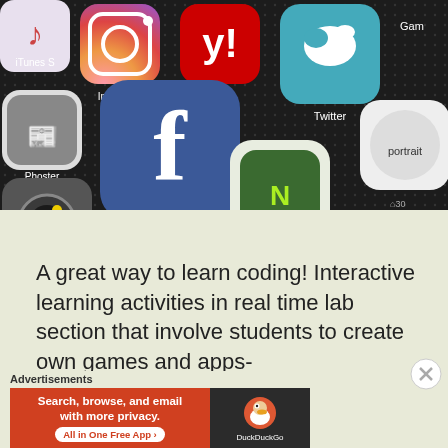[Figure (photo): Close-up photo of a smartphone screen showing app icons including Instagram, Facebook, Twitter, Yelp, Phoster, and other apps on a dark background]
A great way to learn coding! Interactive learning activities in real time lab section that involve students to create own games and apps-
Advertisements
[Figure (screenshot): DuckDuckGo advertisement banner: 'Search, browse, and email with more privacy. All in One Free App' with DuckDuckGo logo on dark right panel]